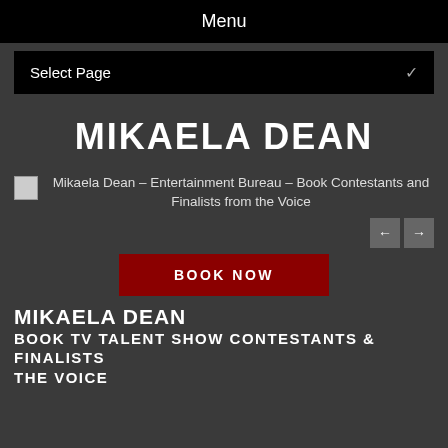Menu
Select Page
MIKAELA DEAN
[Figure (photo): Broken image placeholder for Mikaela Dean – Entertainment Bureau – Book Contestants and Finalists from the Voice]
Mikaela Dean – Entertainment Bureau – Book Contestants and Finalists from the Voice
BOOK NOW
MIKAELA DEAN BOOK TV TALENT SHOW CONTESTANTS & FINALISTS THE VOICE